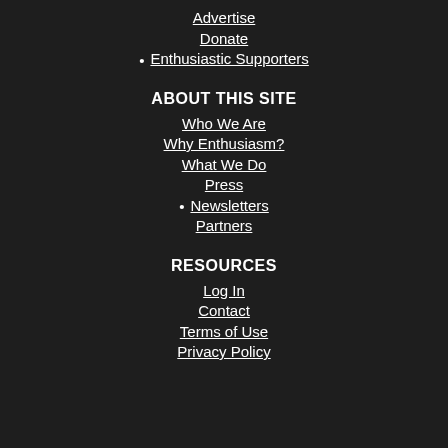Advertise
Donate
• Enthusiastic Supporters
ABOUT THIS SITE
Who We Are
Why Enthusiasm?
What We Do
Press
• Newsletters
Partners
RESOURCES
Log In
Contact
Terms of Use
Privacy Policy